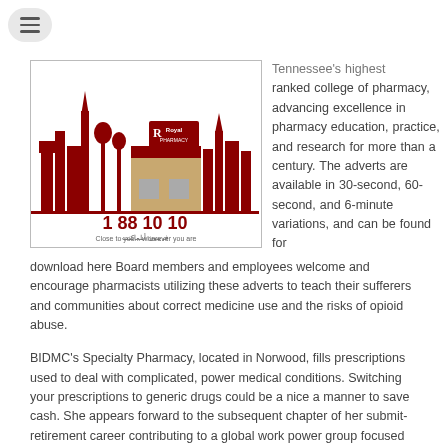[Figure (logo): Royal Pharmacy logo with city skyline silhouette in dark red/maroon, phone number 1 88 10 10, Arabic text, and tagline 'Close to you... wherever you are']
Tennessee's highest ranked college of pharmacy, advancing excellence in pharmacy education, practice, and research for more than a century. The adverts are available in 30-second, 60-second, and 6-minute variations, and can be found for download here Board members and employees welcome and encourage pharmacists utilizing these adverts to teach their sufferers and communities about correct medicine use and the risks of opioid abuse.
BIDMC's Specialty Pharmacy, located in Norwood, fills prescriptions used to deal with complicated, power medical conditions. Switching your prescriptions to generic drugs could be a nice a manner to save cash. She appears forward to the subsequent chapter of her submit-retirement career contributing to a global work power group focused on interprofessional training and collaborative follow.